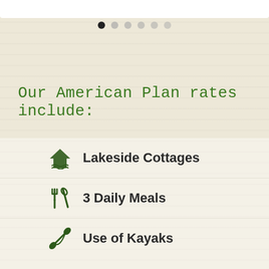[Figure (infographic): Six pagination dots, first dot dark/active, rest lighter grey]
Our American Plan rates include:
Lakeside Cottages
3 Daily Meals
Use of Kayaks